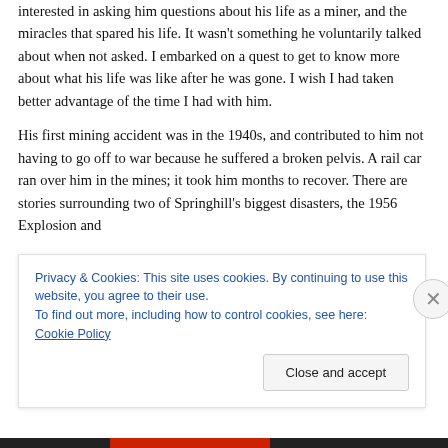interested in asking him questions about his life as a miner, and the miracles that spared his life. It wasn't something he voluntarily talked about when not asked. I embarked on a quest to get to know more about what his life was like after he was gone. I wish I had taken better advantage of the time I had with him.
His first mining accident was in the 1940s, and contributed to him not having to go off to war because he suffered a broken pelvis. A rail car ran over him in the mines; it took him months to recover. There are stories surrounding two of Springhill's biggest disasters, the 1956 Explosion and
Privacy & Cookies: This site uses cookies. By continuing to use this website, you agree to their use.
To find out more, including how to control cookies, see here: Cookie Policy
Close and accept